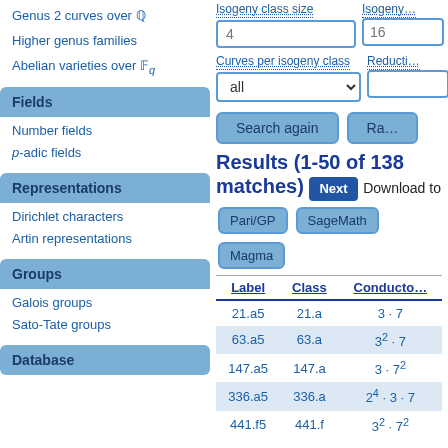Genus 2 curves over Q
Higher genus families
Abelian varieties over F_q
Fields
Number fields
p-adic fields
Representations
Dirichlet characters
Artin representations
Groups
Galois groups
Sato-Tate groups
Database
Isogeny class size | 4 (input) | Isogeny ... | 16 (input)
Curves per isogeny class | all (dropdown) | Reduction... (input)
Search again button | Ra... button
Results (1-50 of 138 matches)
Next | Download to | Pari/GP | SageMath | Magma
| Label | Class | Conductor |
| --- | --- | --- |
| 21.a5 | 21.a | 3 · 7 |
| 63.a5 | 63.a | 3² · 7 |
| 147.a5 | 147.a | 3 · 7² |
| 336.a5 | 336.a | 2⁴ · 3 · 7 |
| 441.f5 | 441.f | 3² · 7² |